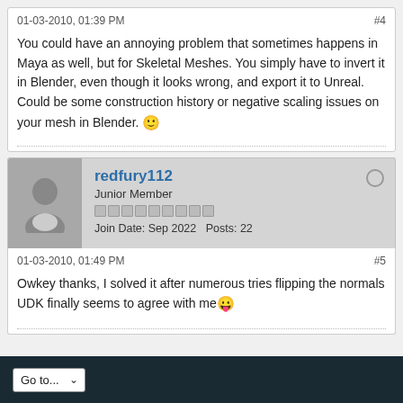01-03-2010, 01:39 PM  #4
You could have an annoying problem that sometimes happens in Maya as well, but for Skeletal Meshes. You simply have to invert it in Blender, even though it looks wrong, and export it to Unreal. Could be some construction history or negative scaling issues on your mesh in Blender. 🙂
redfury112 | Junior Member | Join Date: Sep 2022  Posts: 22
01-03-2010, 01:49 PM  #5
Owkey thanks, I solved it after numerous tries flipping the normals UDK finally seems to agree with me 😛
Go to...